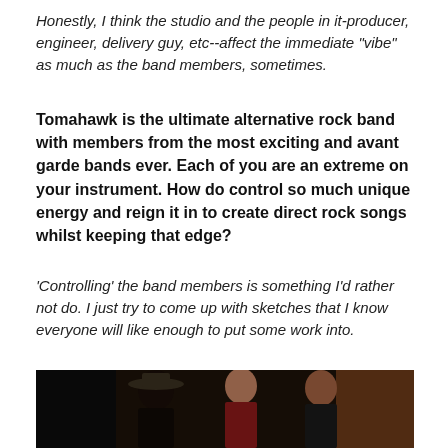Honestly, I think the studio and the people in it-producer, engineer, delivery guy, etc--affect the immediate "vibe" as much as the band members, sometimes.
Tomahawk is the ultimate alternative rock band with members from the most exciting and avant garde bands ever. Each of you are an extreme on your instrument. How do control so much unique energy and reign it in to create direct rock songs whilst keeping that edge?
'Controlling' the band members is something I'd rather not do. I just try to come up with sketches that I know everyone will like enough to put some work into.
[Figure (photo): Group photo of band members, three people visible, one wearing a wide-brim hat, dark indoor setting]